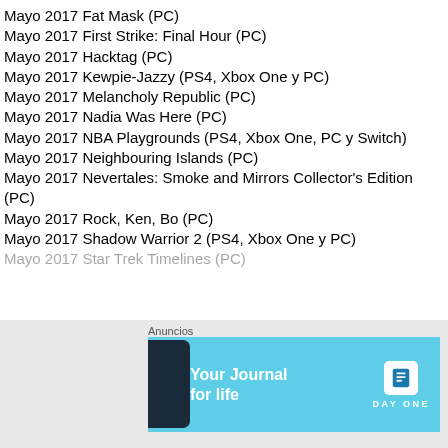Mayo 2017 Fat Mask (PC)
Mayo 2017 First Strike: Final Hour (PC)
Mayo 2017 Hacktag (PC)
Mayo 2017 Kewpie-Jazzy (PS4, Xbox One y PC)
Mayo 2017 Melancholy Republic (PC)
Mayo 2017 Nadia Was Here (PC)
Mayo 2017 NBA Playgrounds (PS4, Xbox One, PC y Switch)
Mayo 2017 Neighbouring Islands (PC)
Mayo 2017 Nevertales: Smoke and Mirrors Collector's Edition (PC)
Mayo 2017 Rock, Ken, Bo (PC)
Mayo 2017 Shadow Warrior 2 (PS4, Xbox One y PC)
Mayo 2017 Star Trek Timelines (PC)
[Figure (infographic): Advertisement banner for Day One journal app with light blue background, phone image, text 'Your Journal for life' and DAY ONE logo with book icon]